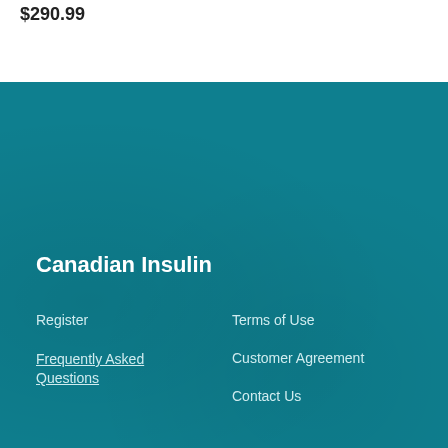$290.99
Canadian Insulin
Register
Terms of Use
Frequently Asked Questions
Customer Agreement
Contact Us